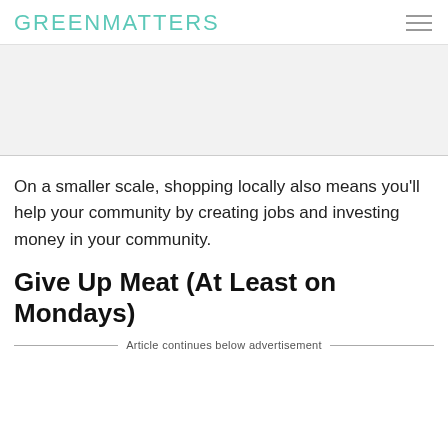GREENMATTERS
On a smaller scale, shopping locally also means you'll help your community by creating jobs and investing money in your community.
Give Up Meat (At Least on Mondays)&#xA0;
Article continues below advertisement